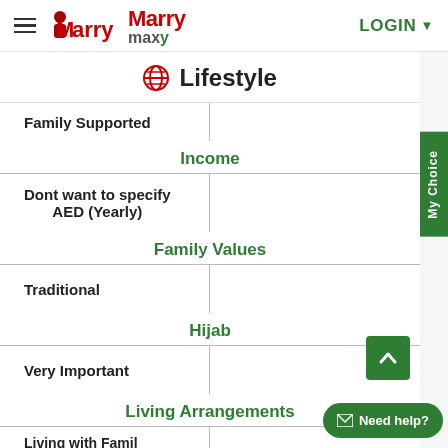MarryMaxy  LOGIN
Lifestyle
Family Supported
Income
Dont want to specify AED (Yearly)
Family Values
Traditional
Hijab
Very Important
Living Arrangements
Living with Famil...